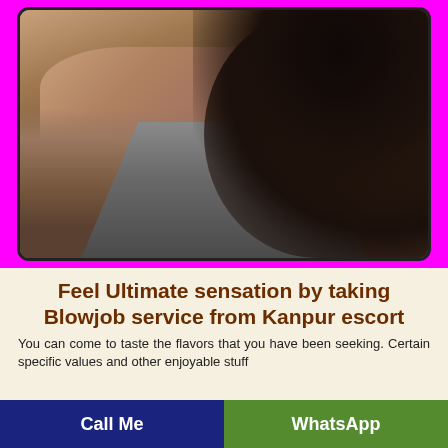[Figure (photo): Close-up photo of a woman in a grey top, with dark curly hair, cropped from neck down]
Feel Ultimate sensation by taking Blowjob service from Kanpur escort
You can come to taste the flavors that you have been seeking. Certain specific values and other enjoyable stuff
Call Me
WhatsApp